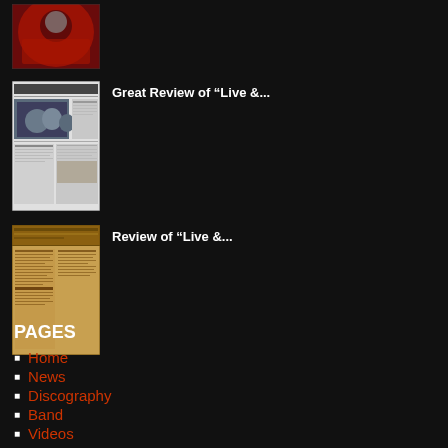[Figure (photo): Photo of a person with sunglasses against a red background]
[Figure (photo): Newspaper clipping with a group photo and text columns]
Great Review of “Live &...
[Figure (photo): Old paper/document with text, brownish background]
Review of “Live &...
PAGES
Home
News
Discography
Band
Videos